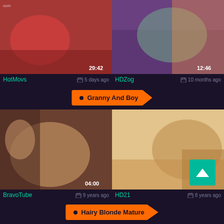[Figure (screenshot): Video thumbnail showing adult content - red outfit, duration 29:42, site HotMovs, 5 days ago]
[Figure (screenshot): Video thumbnail showing adult content - teal/purple setting, duration 12:46, site HDZog, 10 months ago]
Granny And Boy
[Figure (screenshot): Video thumbnail showing adult content, duration 04:00, site BravoTube, 9 years ago]
[Figure (screenshot): Video thumbnail showing adult content - blonde, site HD21, 8 years ago]
Hairy Blonde Mature